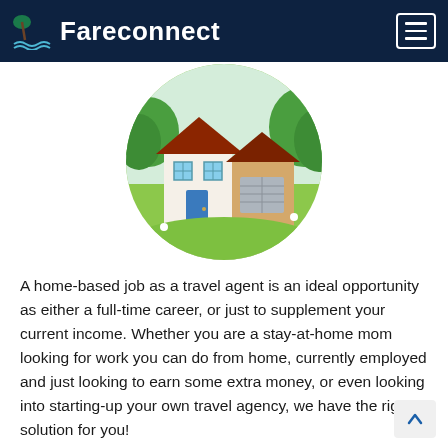Fareconnect
[Figure (illustration): Circular illustration of a house with green lawn, trees, and a driveway. The house has a red/brown roof, white and beige walls, blue door and windows, and a garage.]
A home-based job as a travel agent is an ideal opportunity as either a full-time career, or just to supplement your current income. Whether you are a stay-at-home mom looking for work you can do from home, currently employed and just looking to earn some extra money, or even looking into starting-up your own travel agency, we have the right solution for you!